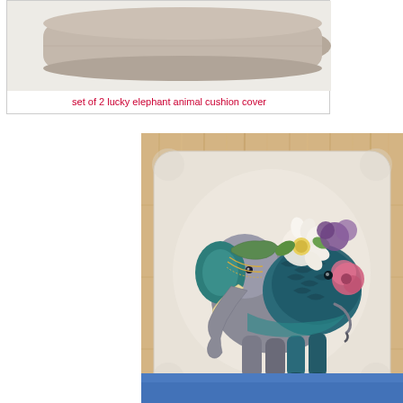[Figure (photo): Cushion cover product photo - set of 2 lucky elephant animal cushion cover, showing a pillow with an elephant motif on white background]
set of 2 lucky elephant animal cushion cover
[Figure (photo): Decorative elephant cushion pillow on wooden bamboo background - the pillow features a colorful artistic elephant decorated with flowers (white, pink, purple), teal and patterned body sections, on a cream/linen colored cushion cover]
[Figure (photo): Partially visible blue cushion cover product image at bottom of page]